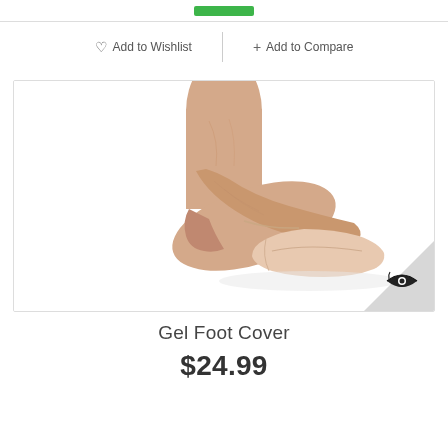[Figure (other): Green button/add to cart button at top of page]
♡  Add to Wishlist
+ Add to Compare
[Figure (photo): Product photo of a gel foot cover (ballet-style shoe/toe cover) worn on a foot, shown against white background. Bottom-right corner has a grey triangle with a dark eye/camera icon logo.]
Gel Foot Cover
$24.99